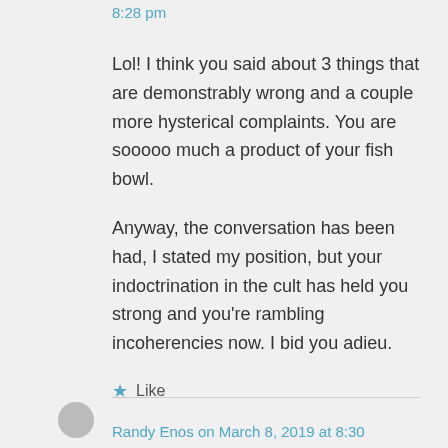8:28 pm
Lol! I think you said about 3 things that are demonstrably wrong and a couple more hysterical complaints. You are sooooo much a product of your fish bowl.

Anyway, the conversation has been had, I stated my position, but your indoctrination in the cult has held you strong and you’re rambling incoherencies now. I bid you adieu.
★ Like
Randy Enos on March 8, 2019 at 8:30